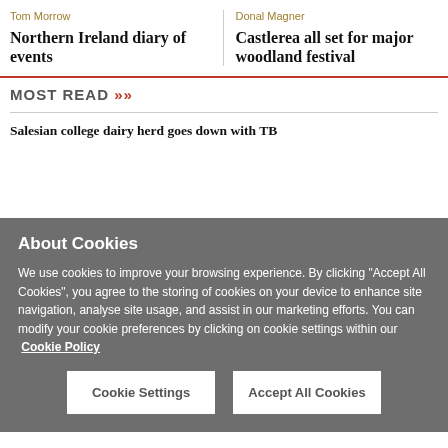Tom Morrow
Northern Ireland diary of events
Donal Magner
Castlerea all set for major woodland festival
MOST READ >>
Salesian college dairy herd goes down with TB
About Cookies
We use cookies to improve your browsing experience. By clicking "Accept All Cookies", you agree to the storing of cookies on your device to enhance site navigation, analyse site usage, and assist in our marketing efforts. You can modify your cookie preferences by clicking on cookie settings within our  Cookie Policy
Cookie Settings
Accept All Cookies